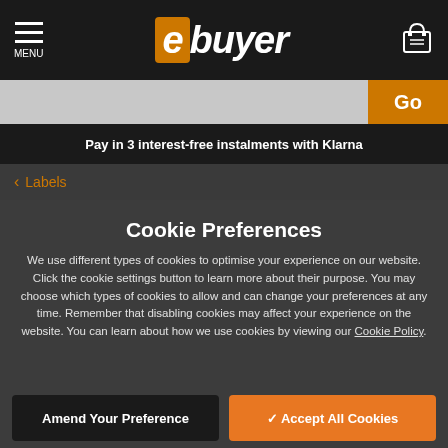MENU | ebuyer
Go
Pay in 3 interest-free instalments with Klarna
< Labels
Cookie Preferences
We use different types of cookies to optimise your experience on our website. Click the cookie settings button to learn more about their purpose. You may choose which types of cookies to allow and can change your preferences at any time. Remember that disabling cookies may affect your experience on the website. You can learn about how we use cookies by viewing our Cookie Policy.
Amend Your Preference
Accept All Cookies